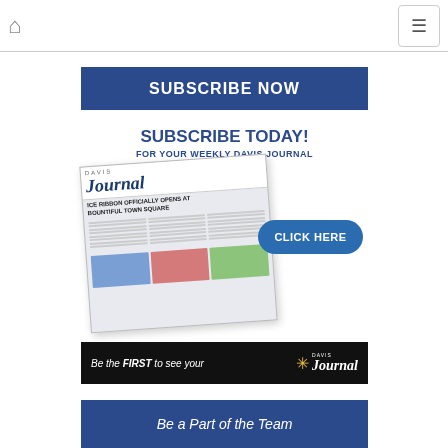SUBSCRIBE NOW
[Figure (illustration): Subscribe Today! For your weekly Davis Journal advertisement showing a newspaper front page with headline 'ICE RIBBON OFFICIALLY OPENS AT BOUNTIFUL TOWN SQUARE', a 'CLICK HERE' button, and 'Be the FIRST to see your Davis Journal' banner at the bottom.]
Be a Part of the Team